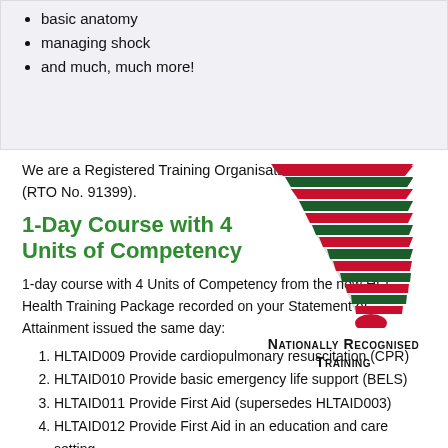basic anatomy
managing shock
and much, much more!
We are a Registered Training Organisation (RTO No. 91399).
[Figure (logo): Nationally Recognised Training logo with red and dark green chevron/stripe pattern]
1-Day Course with 4 Units of Competency
1-day course with 4 Units of Competency from the new HLT Health Training Package recorded on your Statement of Attainment issued the same day:
HLTAID009 Provide cardiopulmonary resuscitation (CPR)
HLTAID010 Provide basic emergency life support (BELS)
HLTAID011 Provide First Aid (supersedes HLTAID003)
HLTAID012 Provide First Aid in an education and care setting